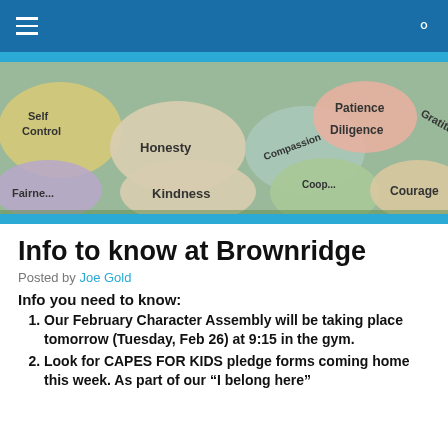[Figure (photo): Navigation bar with hamburger menu icon on the left and search icon on the right, dark blue background]
[Figure (photo): Photo of decorative stones with character trait words written on them: Self Control, Honesty, Patience, Compassion, Diligence, Gratitude, Fairness, Kindness, Cooperation, Courage]
Info to know at Brownridge
Posted by Joe Gold
Info you need to know:
Our February Character Assembly will be taking place tomorrow (Tuesday, Feb 26) at 9:15 in the gym.
Look for CAPES FOR KIDS pledge forms coming home this week. As part of our “I belong here”